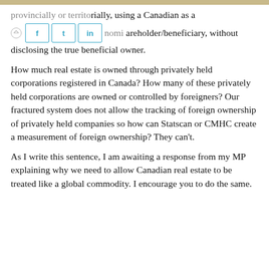provincially or territorially, using a Canadian as a nominee director, shareholder/beneficiary, without disclosing the true beneficial owner.
How much real estate is owned through privately held corporations registered in Canada?  How many of these privately held corporations are owned or controlled by foreigners?  Our fractured system does not allow the tracking of foreign ownership of privately held companies so how can Statscan or CMHC create a measurement of foreign ownership?  They can't.
As I write this sentence, I am awaiting a response from my MP explaining why we need to allow Canadian real estate to be treated like a global commodity.  I encourage you to do the same.